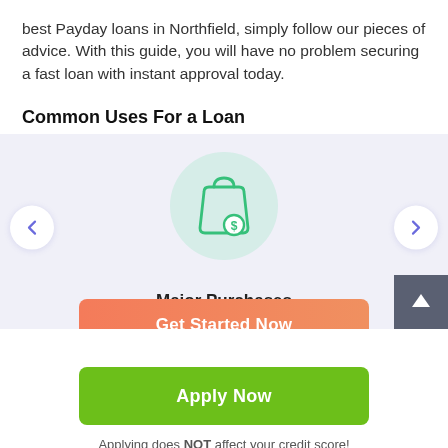best Payday loans in Northfield, simply follow our pieces of advice. With this guide, you will have no problem securing a fast loan with instant approval today.
Common Uses For a Loan
[Figure (illustration): Shopping bag icon with a dollar coin, centered in a light green circular background, with left and right navigation arrows on either side. An up-arrow button is shown in the bottom-right corner.]
Major Purchases
[Figure (other): Orange rounded button labeled 'Get Started Now']
[Figure (other): Green rounded button labeled 'Apply Now']
Applying does NOT affect your credit score! No credit check to apply.